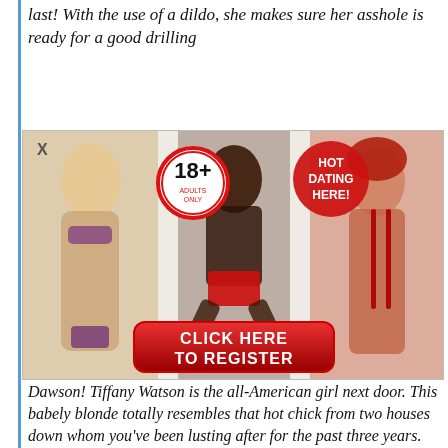last! With the use of a dildo, she makes sure her asshole is ready for a good drilling
[Figure (advertisement): Adult dating advertisement popup with 18+ badge, HOT DATING HERE badge, three female figures, and a red CLICK HERE TO REGISTER button]
Dawson! Tiffany Watson is the all-American girl next door. This babely blonde totally resembles that hot chick from two houses down whom you've been lusting after for the past three years. She is 5'2" tall and weighs a healthy pounds.